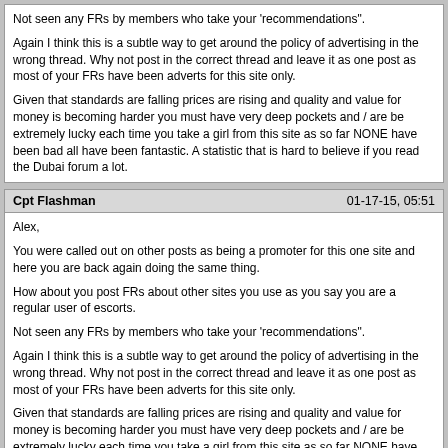Not seen any FRs by members who take your 'recommendations".
Again I think this is a subtle way to get around the policy of advertising in the wrong thread. Why not post in the correct thread and leave it as one post as most of your FRs have been adverts for this site only.
Given that standards are falling prices are rising and quality and value for money is becoming harder you must have very deep pockets and / are be extremely lucky each time you take a girl from this site as so far NONE have been bad all have been fantastic. A statistic that is hard to believe if you read the Dubai forum a lot.
Cpt Flashman   01-17-15, 05:51
Alex,
You were called out on other posts as being a promoter for this one site and here you are back again doing the same thing.
How about you post FRs about other sites you use as you say you are a regular user of escorts.
Not seen any FRs by members who take your 'recommendations".
Again I think this is a subtle way to get around the policy of advertising in the wrong thread. Why not post in the correct thread and leave it as one post as most of your FRs have been adverts for this site only.
Given that standards are falling prices are rising and quality and value for money is becoming harder you must have very deep pockets and / are be extremely lucky each time you take a girl from this site as so far NONE have been bad all have been fantastic. A statistic that is hard to believe if you read the Dubai forum a lot.I would agree with you; clearly a promoter rather than punter!